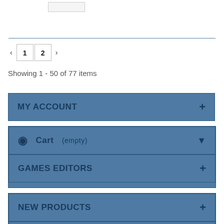[Figure (screenshot): Small image placeholder at top of page]
Showing 1 - 50 of 77 items
MY ACCOUNT
Cart (empty)
GAMES EDITORS
NEW PRODUCTS
SPECIALS